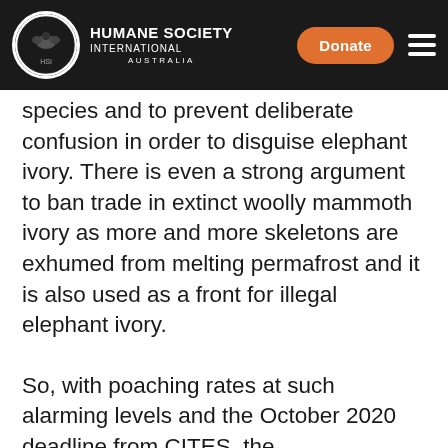HUMANE SOCIETY INTERNATIONAL AUSTRALIA
species and to prevent deliberate confusion in order to disguise elephant ivory. There is even a strong argument to ban trade in extinct woolly mammoth ivory as more and more skeletons are exhumed from melting permafrost and it is also used as a front for illegal elephant ivory.
So, with poaching rates at such alarming levels and the October 2020 deadline from CITES, the Commonwealth, states and territories need to move swiftly. On the 8 November 2020 the nation's environment ministers agreed the